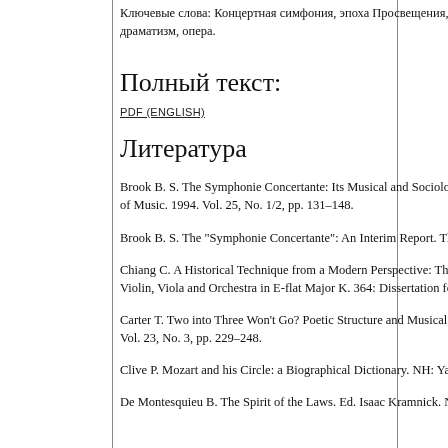Ключевые слова: Концертная симфония, эпоха Просвещения, Вольфганг Амадей Моцарт, теория сонаты, музыкальный драматизм, опера.
Полный текст:
PDF (ENGLISH)
Литература
Brook B. S. The Symphonie Concertante: Its Musical and Sociological Bases. International Review of the Aesthetics and Sociology of Music. 1994. Vol. 25, No. 1/2, pp. 131–148.
Brook B. S. The "Symphonie Concertante": An Interim Report. The Musical Quarterly. 1961. Vol. 47, No. 4, pp. 493–516.
Chiang C. A Historical Technique from a Modern Perspective: The Transcription Scordatura in Mozart's Sinfonia Concertante for Violin, Viola and Orchestra in E-flat Major K. 364: Dissertation for Doctor of Musical Arts. University of Cincinnati, 2011. 70 p.
Carter T. Two into Three Won't Go? Poetic Structure and Musical Forms in Mozart's Idomeneo. Cambridge Opera Journal. 2012. Vol. 23, No. 3, pp. 229–248.
Clive P. Mozart and his Circle: a Biographical Dictionary. NH: Yale University Press, 1993. 242 p.
De Montesquieu B. The Spirit of the Laws. Ed. Isaac Kramnick. NY: Penguin Books Ltd., 1995. 704 p. (In